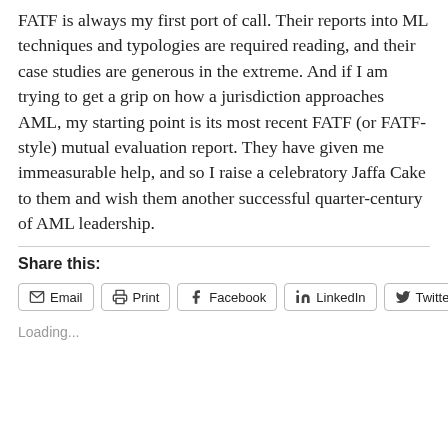FATF is always my first port of call.  Their reports into ML techniques and typologies are required reading, and their case studies are generous in the extreme.  And if I am trying to get a grip on how a jurisdiction approaches AML, my starting point is its most recent FATF (or FATF-style) mutual evaluation report.  They have given me immeasurable help, and so I raise a celebratory Jaffa Cake to them and wish them another successful quarter-century of AML leadership.
Share this:
Email
Print
Facebook
LinkedIn
Twitter
Loading...